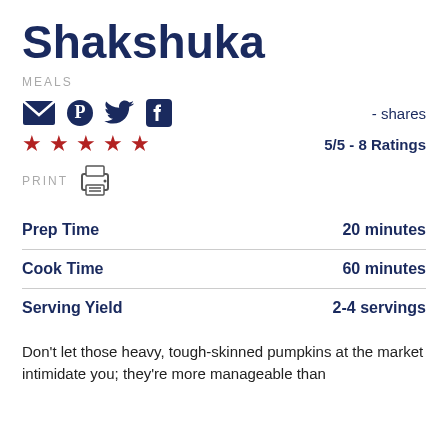Shakshuka
MEALS
- shares
5/5 - 8 Ratings
PRINT
| Label | Value |
| --- | --- |
| Prep Time | 20 minutes |
| Cook Time | 60 minutes |
| Serving Yield | 2-4 servings |
Don't let those heavy, tough-skinned pumpkins at the market intimidate you; they're more manageable than